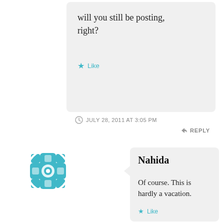will you still be posting, right?
Like
JULY 28, 2011 AT 3:05 PM
REPLY
[Figure (illustration): Teal/turquoise decorative avatar icon with geometric floral cross pattern]
Nahida
Of course. This is hardly a vacation.
Like